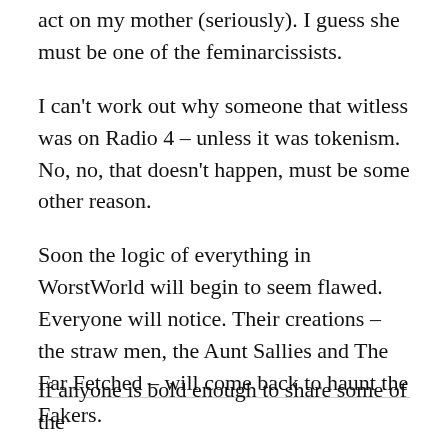act on my mother (seriously). I guess she must be one of the feminarcissists.
I can't work out why someone that witless was on Radio 4 – unless it was tokenism. No, no, that doesn't happen, must be some other reason.
Soon the logic of everything in WorstWorld will begin to seem flawed. Everyone will notice. Their creations – the straw men, the Aunt Sallies and The Far Fetched – will come back to haunt the Fakers.
As anyone who has seen Westworld will know, it doesn't end well for the fantasists.
If anyone is bold enough to share some of the